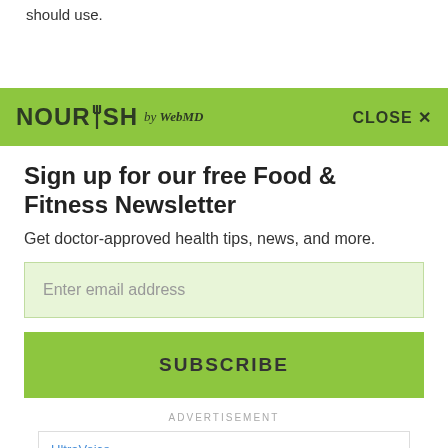should use.
[Figure (screenshot): Nourish by WebMD newsletter signup modal with green banner header, email input field, subscribe button, and advertisement]
Sign up for our free Food & Fitness Newsletter
Get doctor-approved health tips, news, and more.
Enter email address
SUBSCRIBE
ADVERTISEMENT
UltraVoice
UltraVoice Speech Device. Better Than An Artificial Larynx. Contact Us Today.